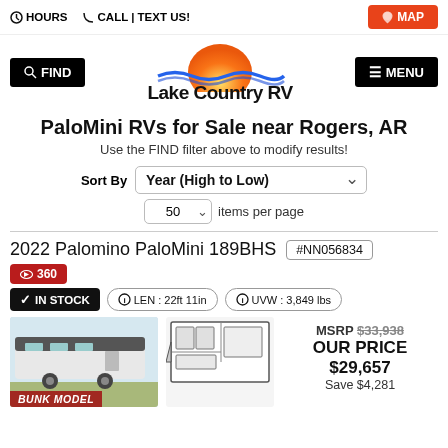HOURS   CALL | TEXT US!   MAP
[Figure (logo): Lake Country RV logo with orange sun and blue wave]
PaloMini RVs for Sale near Rogers, AR
Use the FIND filter above to modify results!
Sort By  Year (High to Low)  50 items per page
2022 Palomino PaloMini 189BHS  #NN056834
360  IN STOCK  LEN : 22ft 11in  UVW : 3,849 lbs
[Figure (photo): Travel trailer exterior photo with BUNK MODEL label]
[Figure (schematic): RV floor plan diagram for 189BHS]
MSRP $33,938
OUR PRICE $29,657
Save $4,281